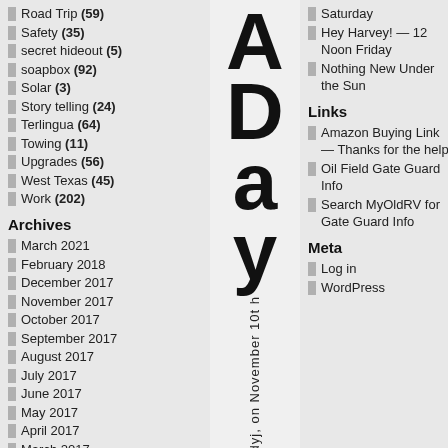Road Trip (59)
Safety (35)
secret hideout (5)
soapbox (92)
Solar (3)
Story telling (24)
Terlingua (64)
Towing (11)
Upgrades (56)
West Texas (45)
Work (202)
Archives
March 2021
February 2018
December 2017
November 2017
October 2017
September 2017
August 2017
July 2017
June 2017
May 2017
April 2017
March 2017
[Figure (other): Large vertical text reading 'A Day' followed by rotated small text 'By andyj, on November 10th']
Saturday
Hey Harvey! — 12 Noon Friday
Nothing New Under the Sun
Links
Amazon Buying Link — Thanks for the help!
Oil Field Gate Guard Info
Search MyOldRV for Gate Guard Info
Meta
Log in
WordPress